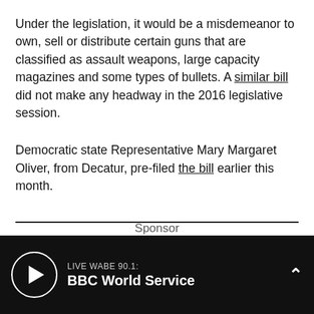Under the legislation, it would be a misdemeanor to own, sell or distribute certain guns that are classified as assault weapons, large capacity magazines and some types of bullets. A similar bill did not make any headway in the 2016 legislative session.
Democratic state Representative Mary Margaret Oliver, from Decatur, pre-filed the bill earlier this month.
Sponsor
LIVE WABE 90.1: BBC World Service